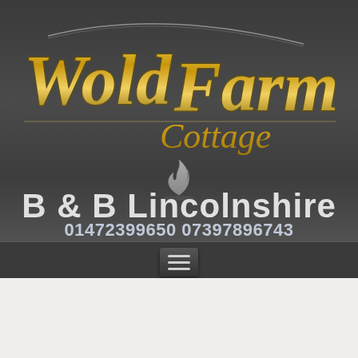[Figure (logo): Wold Farm Cottage logo with gold/silver script text on dark grey background, decorative flame/scroll icon]
B & B Lincolnshire
01472399650 07397896743
[Figure (screenshot): Hamburger menu navigation button on dark background]
When would you like to stay?
| Check-in date | Check-out date |
| --- | --- |
| 2 | 3 |
| September '22 | September '22 |